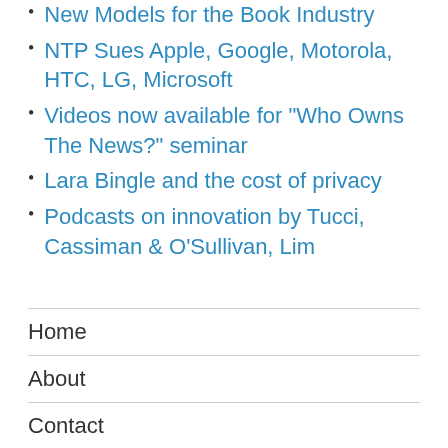New Models for the Book Industry
NTP Sues Apple, Google, Motorola, HTC, LG, Microsoft
Videos now available for "Who Owns The News?" seminar
Lara Bingle and the cost of privacy
Podcasts on innovation by Tucci, Cassiman & O'Sullivan, Lim
Home
About
Contact